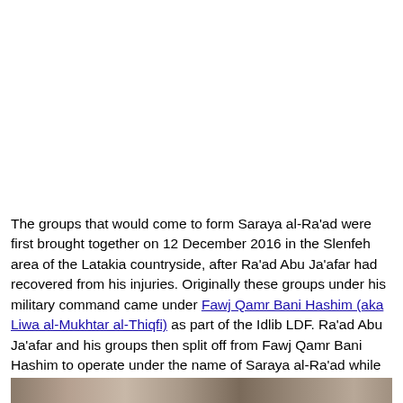The groups that would come to form Saraya al-Ra'ad were first brought together on 12 December 2016 in the Slenfeh area of the Latakia countryside, after Ra'ad Abu Ja'afar had recovered from his injuries. Originally these groups under his military command came under Fawj Qamr Bani Hashim (aka Liwa al-Mukhtar al-Thiqfi) as part of the Idlib LDF. Ra'ad Abu Ja'afar and his groups then split off from Fawj Qamr Bani Hashim to operate under the name of Saraya al-Ra'ad while still being a part of the Idlib LDF. Besides Ra'ad Abu Ja'afar, another figure of note in the group is Mazen Tahan who directs administrative affairs.
[Figure (photo): Partial image strip visible at the bottom of the page]